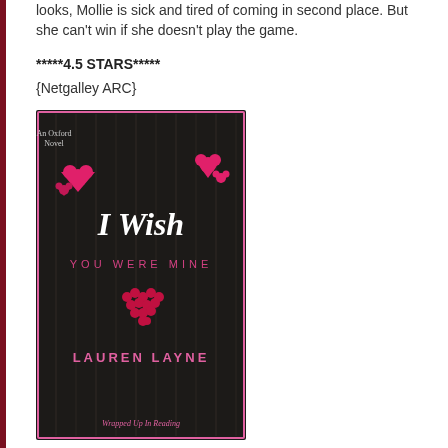looks, Mollie is sick and tired of coming in second place. But she can't win if she doesn't play the game.
*****4.5 STARS*****
{Netgalley ARC}
[Figure (photo): Book cover for 'I Wish You Were Mine' by Lauren Layne, An Oxford Novel. Dark wood-grain background with pink hearts. Title in white script. Subtitle 'YOU WERE MINE' in spaced pink letters. A pink heart made of small spheres in the center. Author name 'LAUREN LAYNE' in pink. Bottom text 'Wrapped Up In Reading' in pink cursive. Pink border around the cover.]